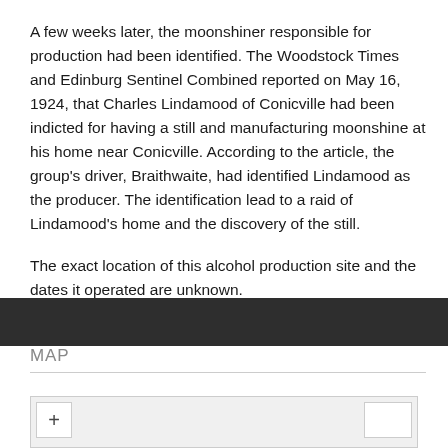A few weeks later, the moonshiner responsible for production had been identified. The Woodstock Times and Edinburg Sentinel Combined reported on May 16, 1924, that Charles Lindamood of Conicville had been indicted for having a still and manufacturing moonshine at his home near Conicville. According to the article, the group's driver, Braithwaite, had identified Lindamood as the producer. The identification lead to a raid of Lindamood's home and the discovery of the still.
The exact location of this alcohol production site and the dates it operated are unknown.
MAP